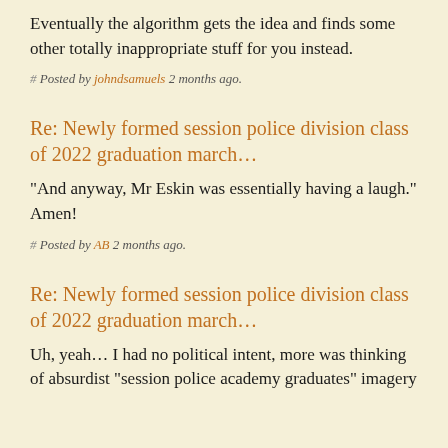Eventually the algorithm gets the idea and finds some other totally inappropriate stuff for you instead.
# Posted by johndsamuels 2 months ago.
Re: Newly formed session police division class of 2022 graduation march…
"And anyway, Mr Eskin was essentially having a laugh." Amen!
# Posted by AB 2 months ago.
Re: Newly formed session police division class of 2022 graduation march…
Uh, yeah… I had no political intent, more was thinking of absurdist "session police academy graduates" imagery